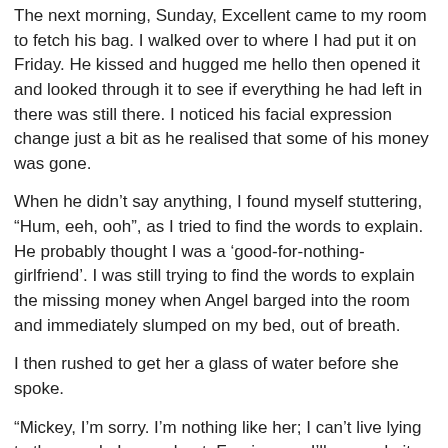The next morning, Sunday, Excellent came to my room to fetch his bag. I walked over to where I had put it on Friday. He kissed and hugged me hello then opened it and looked through it to see if everything he had left in there was still there. I noticed his facial expression change just a bit as he realised that some of his money was gone.
When he didn't say anything, I found myself stuttering, “Hum, eeh, ooh”, as I tried to find the words to explain. He probably thought I was a ‘good-for-nothing-girlfriend’. I was still trying to find the words to explain the missing money when Angel barged into the room and immediately slumped on my bed, out of breath.
I then rushed to get her a glass of water before she spoke.
“Mickey, I’m sorry. I’m nothing like her; I can’t live lying to the people I care about. Forgive me; I’ll never do it again.” Angel said before handing me a R100 note.